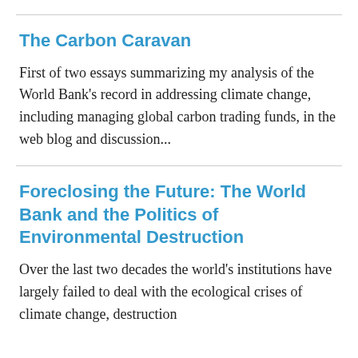The Carbon Caravan
First of two essays summarizing my analysis of the World Bank's record in addressing climate change, including managing global carbon trading funds, in the web blog and discussion...
Foreclosing the Future: The World Bank and the Politics of Environmental Destruction
Over the last two decades the world's institutions have largely failed to deal with the ecological crises of climate change, destruction